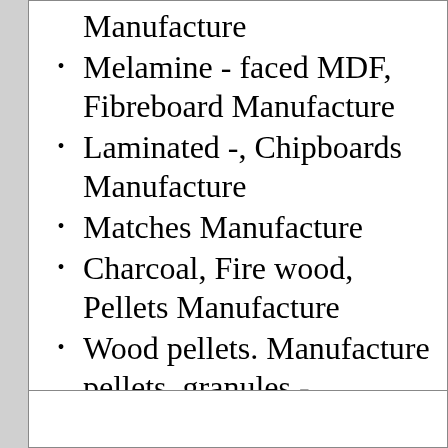Manufacture
Melamine - faced MDF, Fibreboard Manufacture
Laminated -, Chipboards Manufacture
Matches Manufacture
Charcoal, Fire wood, Pellets Manufacture
Wood pellets. Manufacture pellets. granules - PELLETS. Wood granules. Biofuel. Manufacturer fuel wood pellets Manufacture